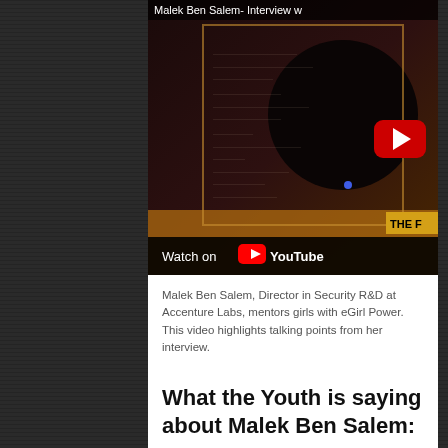[Figure (screenshot): YouTube video thumbnail for 'Malek Ben Salem - Interview w...' showing a dark scene with a person's silhouette, a red YouTube play button, 'Watch on YouTube' overlay at the bottom, and a gold 'THE F' label in the lower right corner.]
Malek Ben Salem, Director in Security R&D at Accenture Labs, mentors girls with eGirl Power. This video highlights talking points from her interview.
What the Youth is saying about Malek Ben Salem: